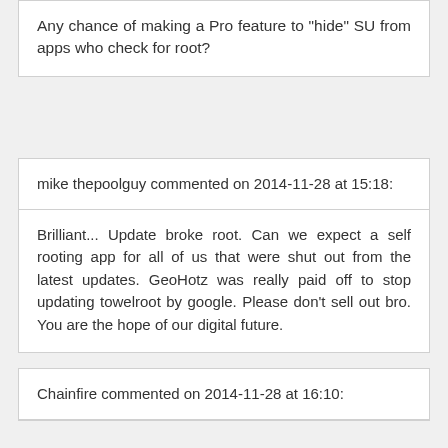Any chance of making a Pro feature to "hide" SU from apps who check for root?
mike thepoolguy commented on 2014-11-28 at 15:18:
Brilliant... Update broke root. Can we expect a self rooting app for all of us that were shut out from the latest updates. GeoHotz was really paid off to stop updating towelroot by google. Please don't sell out bro. You are the hope of our digital future.
Chainfire commented on 2014-11-28 at 16:10: